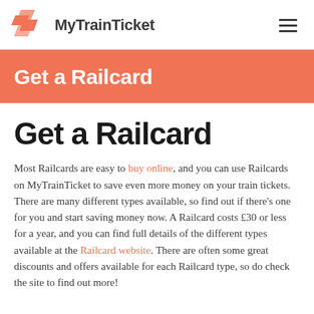MyTrainTicket
Get a Railcard
Get a Railcard
Most Railcards are easy to buy online, and you can use Railcards on MyTrainTicket to save even more money on your train tickets. There are many different types available, so find out if there's one for you and start saving money now. A Railcard costs £30 or less for a year, and you can find full details of the different types available at the Railcard website. There are often some great discounts and offers available for each Railcard type, so do check the site to find out more!